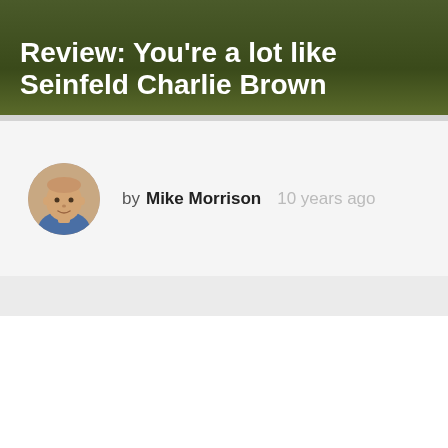Review: You're a lot like Seinfeld Charlie Brown
by Mike Morrison  10 years ago
[Figure (photo): Author avatar photo of Mike Morrison, a man with short hair wearing a blue shirt, circular cropped headshot]